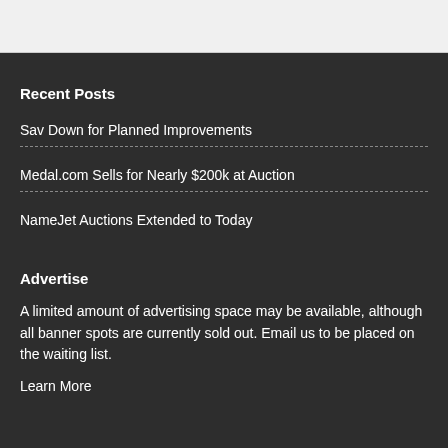Recent Posts
Sav Down for Planned Improvements
Medal.com Sells for Nearly $200k at Auction
NameJet Auctions Extended to Today
Advertise
A limited amount of advertising space may be available, although all banner spots are currently sold out. Email us to be placed on the waiting list.
Learn More